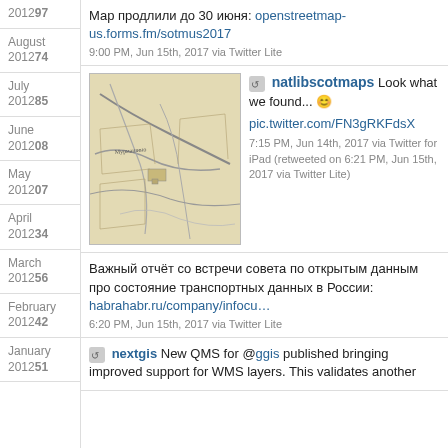2012 97
Мар продлили до 30 июня: openstreetmap-us.forms.fm/sotmus2017
9:00 PM, Jun 15th, 2017 via Twitter Lite
August 2012 74
[Figure (map): Vintage map image showing roads and fields]
natlibscotmaps Look what we found... 😊 pic.twitter.com/FN3gRKFdsX
7:15 PM, Jun 14th, 2017 via Twitter for iPad (retweeted on 6:21 PM, Jun 15th, 2017 via Twitter Lite)
July 2012 85
June 2012 08
May 2012 07
April 2012 34
Важный отчёт со встречи совета по открытым данным про состояние транспортных данных в России: habrahabr.ru/company/infocu…
6:20 PM, Jun 15th, 2017 via Twitter Lite
March 2012 56
February 2012 42
nextgis New QMS for @ggis published bringing improved support for WMS layers. This validates another
January 2012 51